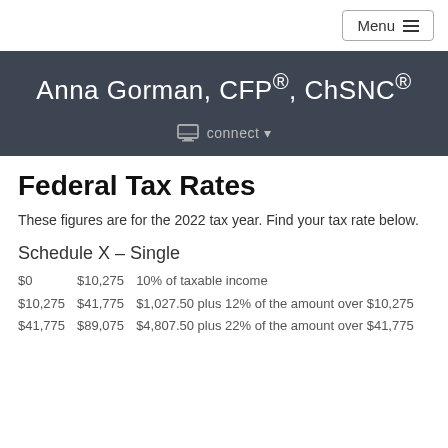Menu
Anna Gorman, CFP®, ChSNC®
connect
Federal Tax Rates
These figures are for the 2022 tax year. Find your tax rate below.
Schedule X – Single
| From | To | Rate |
| --- | --- | --- |
| $0 | $10,275 | 10% of taxable income |
| $10,275 | $41,775 | $1,027.50 plus 12% of the amount over $10,275 |
| $41,775 | $89,075 | $4,807.50 plus 22% of the amount over $41,775 |